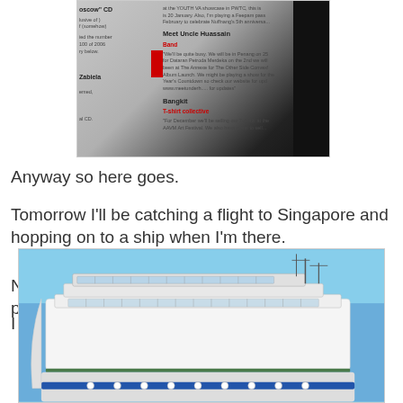[Figure (photo): A cropped magazine page showing band listings including 'Meet Uncle Huassain' and 'Bangkit' sections with red text highlights, partially obscured on right by dark shadow]
Anyway so here goes.
Tomorrow I'll be catching a flight to Singapore and hopping on to a ship when I'm there.
Not just any ship, quite a big ship with lots of people.
I think it's called the Royal Caribbean Cruise line.
[Figure (photo): A large cruise ship (Royal Caribbean) seen from the side against a blue sky, showing upper decks with glass windshields and antenna masts]